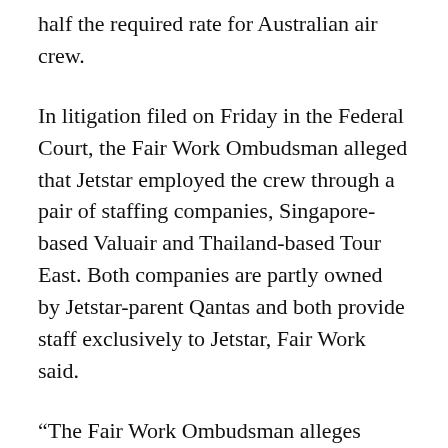half the required rate for Australian air crew.
In litigation filed on Friday in the Federal Court, the Fair Work Ombudsman alleged that Jetstar employed the crew through a pair of staffing companies, Singapore-based Valuair and Thailand-based Tour East. Both companies are partly owned by Jetstar-parent Qantas and both provide staff exclusively to Jetstar, Fair Work said.
“The Fair Work Ombudsman alleges Jetstar Airways was knowingly a party to underpayment conventions,” the labour umpire said in a statement. “It alleges Jetstar rosters the foreign cabin crews onto its Australian domestic flights and is aware of the